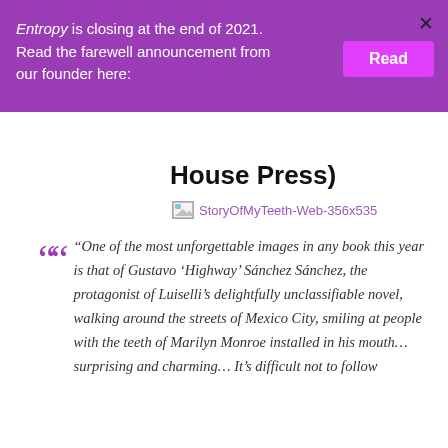Entropy is closing at the end of 2021. Read the farewell announcement from our founder here:
House Press)
[Figure (photo): Broken image placeholder labeled StoryOfMyTeeth-Web-356x535]
“One of the most unforgettable images in any book this year is that of Gustavo ‘Highway’ Sánchez Sánchez, the protagonist of Luiselli’s delightfully unclassifiable novel, walking around the streets of Mexico City, smiling at people with the teeth of Marilyn Monroe installed in his mouth… surprising and charming… It’s difficult not to follow